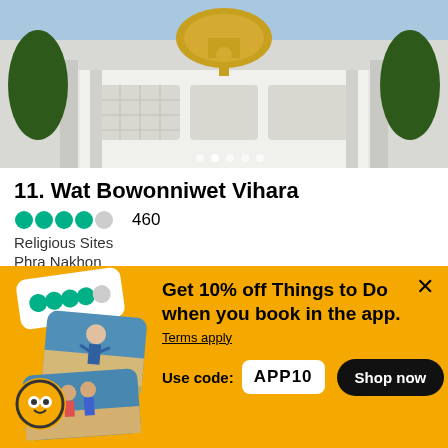[Figure (photo): Exterior photo of Wat Bowonniwet Vihara temple with ornate white facade and golden dome]
11. Wat Bowonniwet Vihara
460 Religious Sites
Phra Nakhon
By wandererxw
An old temple famous for the thousand year old stone carving Buddha statue. Prabhaireebhinash
Get 10% off Things to Do when you book in the app. Terms apply
Use code: APP10
Shop now